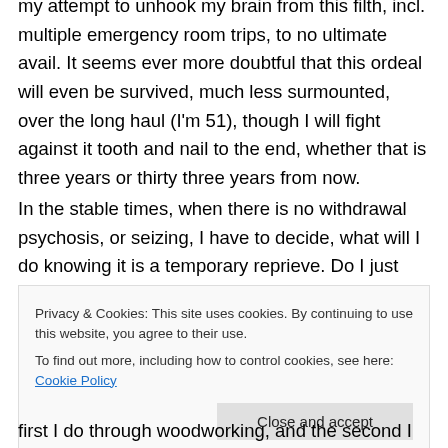my attempt to unhook my brain from this filth, incl. multiple emergency room trips, to no ultimate avail. It seems ever more doubtful that this ordeal will even be survived, much less surmounted, over the long haul (I'm 51), though I will fight against it tooth and nail to the end, whether that is three years or thirty three years from now.
In the stable times, when there is no withdrawal psychosis, or seizing, I have to decide, what will I do knowing it is a temporary reprieve. Do I just
Privacy & Cookies: This site uses cookies. By continuing to use this website, you agree to their use.
To find out more, including how to control cookies, see here: Cookie Policy
first I do through woodworking, and the second I